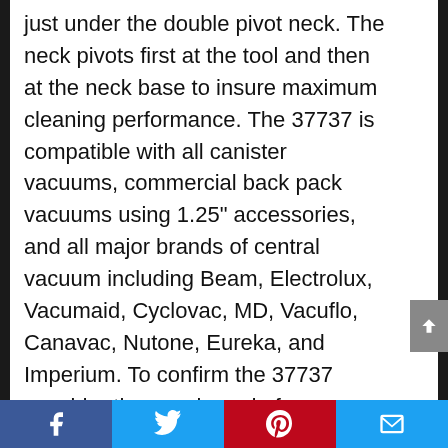just under the double pivot neck. The neck pivots first at the tool and then at the neck base to insure maximum cleaning performance. The 37737 is compatible with all canister vacuums, commercial back pack vacuums using 1.25" accessories, and all major brands of central vacuum including Beam, Electrolux, Vacumaid, Cyclovac, MD, Vacuflo, Canavac, Nutone, Eureka, and Imperium. To confirm the 37737 consider the nozzle end of your wand or extension tube. If it has a connection without a button and measures approximately 1.1/4" on the outside surface, it should be compatible. The 37737 is not compatible with several brands